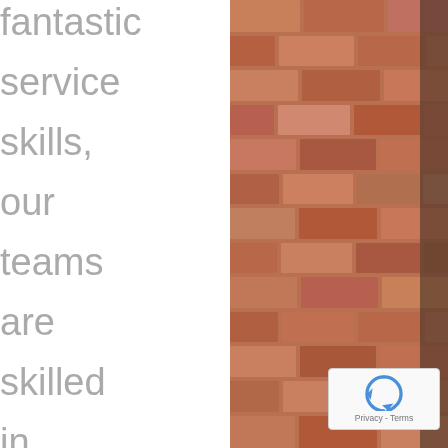fantastic service skills, our teams are skilled in all things related to garage doors. We can let you
[Figure (photo): Close-up photograph of a red brick wall with mortar joints, slightly blurred. A dark vertical element (possibly a door frame) is visible on the right side.]